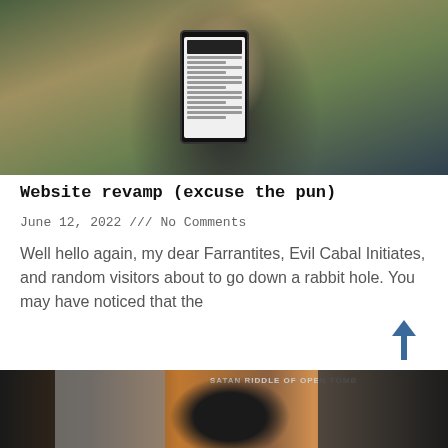[Figure (photo): Woman holding up a smartphone/e-reader device showing text content, wearing sunglasses and a dark top, outdoor setting with greenery]
Website revamp (excuse the pun)
June 12, 2022 /// No Comments
Well hello again, my dear Farrantites, Evil Cabal Initiates, and random visitors about to go down a rabbit hole. You may have noticed that the
Read More »
[Figure (photo): Collage image showing a person wearing a black cowboy hat, with text overlay reading 'SATAN RIDDLE OF OPEN TOMB' and dark atmospheric imagery]